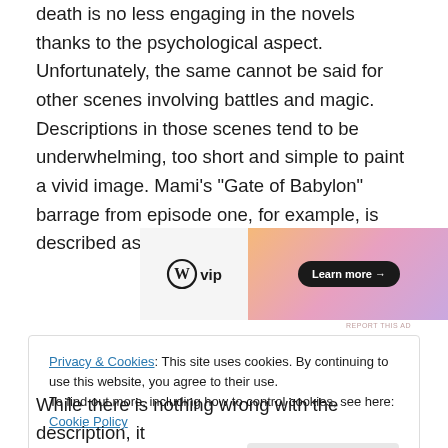death is no less engaging in the novels thanks to the psychological aspect. Unfortunately, the same cannot be said for other scenes involving battles and magic. Descriptions in those scenes tend to be underwhelming, too short and simple to paint a vivid image. Mami's “Gate of Babylon” barrage from episode one, for example, is described as follows:
[Figure (other): WordPress VIP advertisement banner with 'Learn more →' button on gradient background]
Privacy & Cookies: This site uses cookies. By continuing to use this website, you agree to their use.
To find out more, including how to control cookies, see here: Cookie Policy
[Close and accept button]
While there is nothing wrong with the description, it